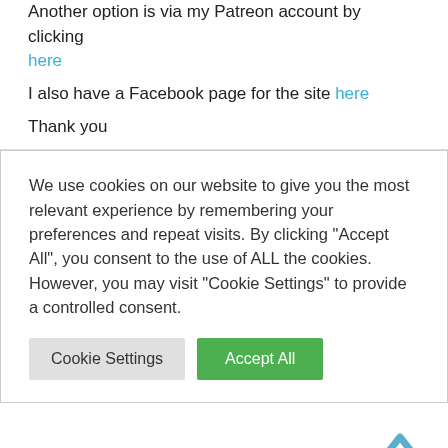Another option is via my Patreon account by clicking here
I also have a Facebook page for the site here
Thank you
We use cookies on our website to give you the most relevant experience by remembering your preferences and repeat visits. By clicking "Accept All", you consent to the use of ALL the cookies. However, you may visit "Cookie Settings" to provide a controlled consent.
John Smith